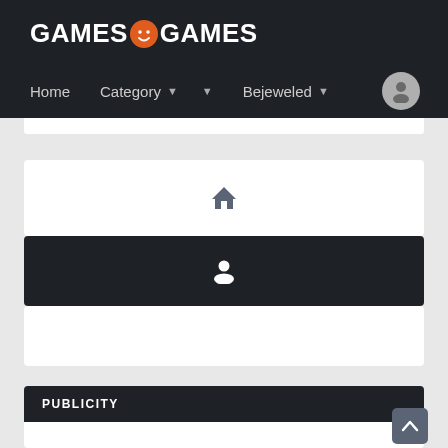GAMES GAMES - navigation bar with Home, Category, Bejeweled, and user avatar
[Figure (screenshot): Website screenshot showing GAMES☺GAMES logo, navigation bar with Home, Category dropdown, standalone dropdown arrow, Bejeweled dropdown, and user avatar]
[Figure (other): White card with home icon]
[Figure (other): Dark card with user/person icon]
[Figure (other): Empty white card]
PUBLICITY
[Figure (other): Scroll to top button with upward arrow]